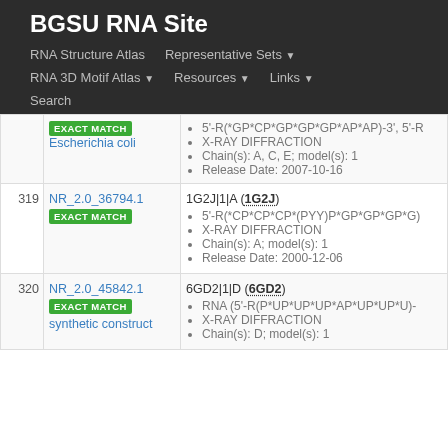BGSU RNA Site
RNA Structure Atlas | Representative Sets ▼ | RNA 3D Motif Atlas ▼ | Resources ▼ | Links ▼ | Search
| # | ID / Match | Structure Details |
| --- | --- | --- |
|  | EXACT MATCH
Escherichia coli | 5'-R(*GP*CP*GP*GP*GP*AP*AP)-3', 5'-R...
X-RAY DIFFRACTION
Chain(s): A, C, E; model(s): 1
Release Date: 2007-10-16 |
| 319 | NR_2.0_36794.1
EXACT MATCH | 1G2J|1|A (1G2J)
5'-R(*CP*CP*CP*(PYY)P*GP*GP*GP*G)...
X-RAY DIFFRACTION
Chain(s): A; model(s): 1
Release Date: 2000-12-06 |
| 320 | NR_2.0_45842.1
EXACT MATCH
synthetic construct | 6GD2|1|D (6GD2)
RNA (5'-R(P*UP*UP*UP*AP*UP*UP*U)-...
X-RAY DIFFRACTION
Chain(s): D; model(s): 1 |